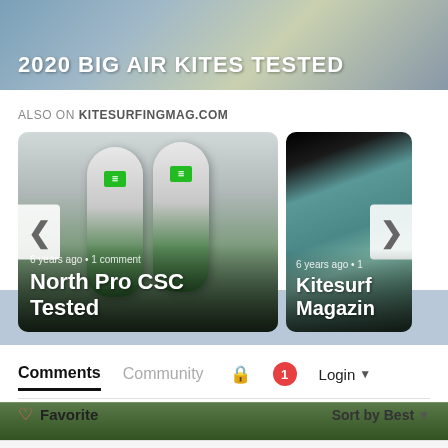[Figure (photo): Top banner image of outdoor water/landscape scene with bold white text overlay reading '2020 BIG AIR KITES TESTED']
ALSO ON KITESURFINGMAG.COM
[Figure (photo): Carousel card showing two North Pro CSC kiteboard fins with green branding on gray/green gradient background. Left nav arrow visible. Caption: '6 years ago • 1 comment / North Pro CSC Tested']
[Figure (photo): Carousel card (partially visible, right side) showing aerial beach/water photo with dark top strip. Right nav arrow visible. Caption: '6 years ago • 1 / Kitesurf Magazine']
Comments
Community
Login
♡ Favorite
Sort by Best